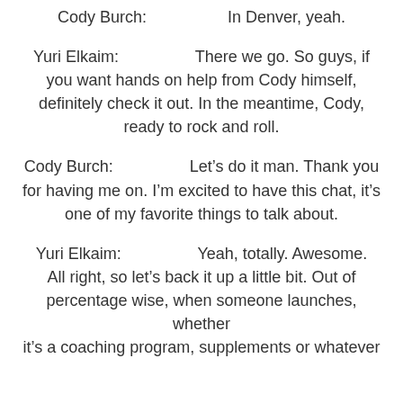Cody Burch:    In Denver, yeah.
Yuri Elkaim:    There we go. So guys, if you want hands on help from Cody himself, definitely check it out. In the meantime, Cody, ready to rock and roll.
Cody Burch:    Let’s do it man. Thank you for having me on. I’m excited to have this chat, it’s one of my favorite things to talk about.
Yuri Elkaim:    Yeah, totally. Awesome. All right, so let’s back it up a little bit. Out of percentage wise, when someone launches, whether it’s a coaching program, supplements or whatever